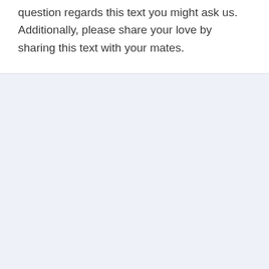question regards this text you might ask us. Additionally, please share your love by sharing this text with your mates.